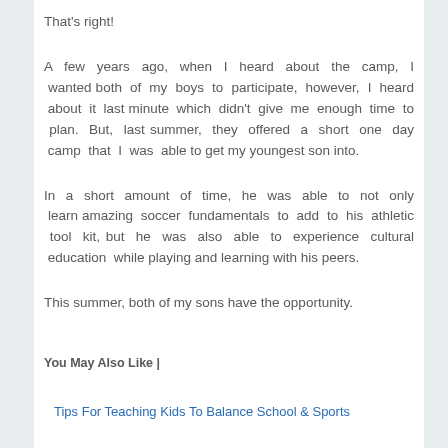That's right!
A few years ago, when I heard about the camp, I wanted both of my boys to participate, however, I heard about it last minute which didn't give me enough time to plan. But, last summer, they offered a short one day camp that I was able to get my youngest son into.
In a short amount of time, he was able to not only learn amazing soccer fundamentals to add to his athletic tool kit, but he was also able to experience cultural education while playing and learning with his peers.
This summer, both of my sons have the opportunity.
You May Also Like |
Tips For Teaching Kids To Balance School & Sports